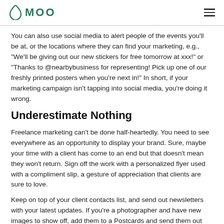MOO
You can also use social media to alert people of the events you'll be at, or the locations where they can find your marketing, e.g., “We’ll be giving out our new stickers for free tomorrow at xxx!” or “Thanks to @nearbybusiness for representing! Pick up one of our freshly printed posters when you’re next in!” In short, if your marketing campaign isn’t tapping into social media, you’re doing it wrong.
Underestimate Nothing
Freelance marketing can’t be done half-heartedly. You need to see everywhere as an opportunity to display your brand. Sure, maybe your time with a client has come to an end but that doesn’t mean they won’t return. Sign off the work with a personalized flyer used with a compliment slip, a gesture of appreciation that clients are sure to love.
Keep on top of your client contacts list, and send out newsletters with your latest updates. If you’re a photographer and have new images to show off, add them to a Postcards and send them out